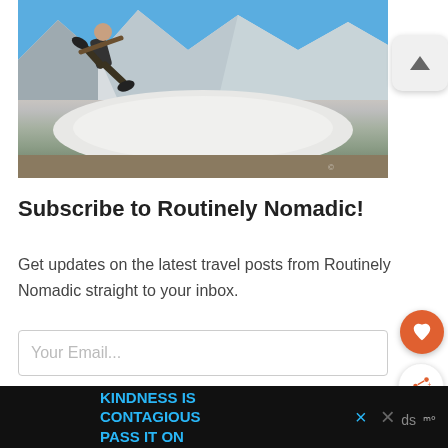[Figure (photo): Person jumping in the air against a backdrop of snow-capped mountains and glacier under a blue sky]
Subscribe to Routinely Nomadic!
Get updates on the latest travel posts from Routinely Nomadic straight to your inbox.
Your Email...
SUBSCRIBE
KINDNESS IS CONTAGIOUS PASS IT ON